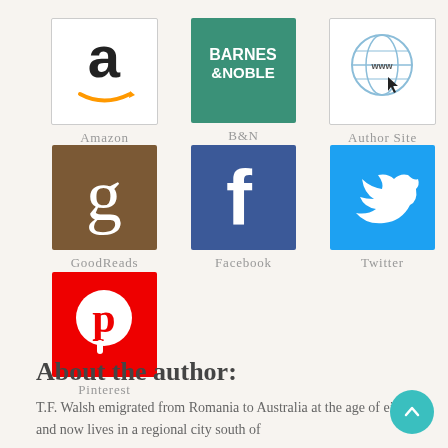[Figure (logo): Amazon logo icon - white box with 'a' and orange arrow]
Amazon
[Figure (logo): Barnes & Noble logo icon - green box with 'BARNES & NOBLE' text]
B&N
[Figure (logo): Author Site icon - white box with globe/www and cursor]
Author Site
[Figure (logo): GoodReads logo - brown box with lowercase g]
GoodReads
[Figure (logo): Facebook logo - blue box with white f]
Facebook
[Figure (logo): Twitter logo - blue box with white bird]
Twitter
[Figure (logo): Pinterest logo - red box with white P]
Pinterest
About the author:
T.F. Walsh emigrated from Romania to Australia at the age of eight and now lives in a regional city south of